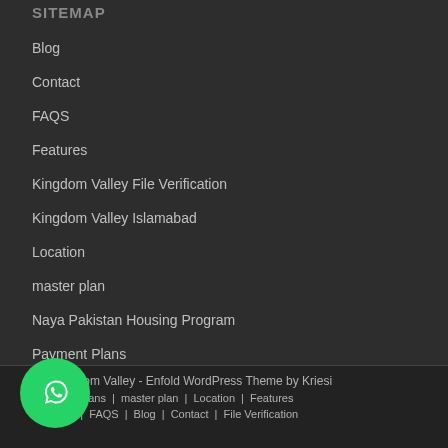SITEMAP
Blog
Contact
FAQS
Features
Kingdom Valley File Verification
Kingdom Valley Islamabad
Location
master plan
Naya Pakistan Housing Program
Payment Plans
ht - Kingdom Valley - Enfold WordPress Theme by Kriesi | Payment Plans | master plan | Location | Features | NPHP | FAQS | Blog | Contact | File Verification